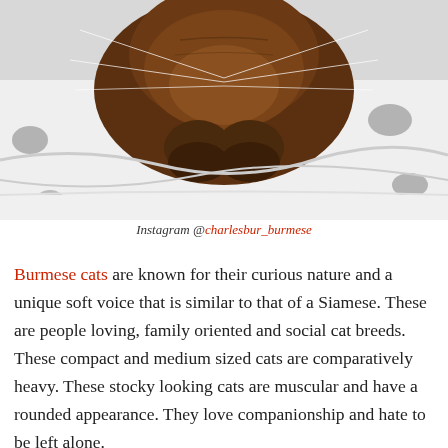[Figure (photo): A brown Burmese cat lying on its back on white and grey polka-dot bedding, paws folded on its chest, whiskers visible]
Instagram @charlesbur_burmese
Burmese cats are known for their curious nature and a unique soft voice that is similar to that of a Siamese. These are people loving, family oriented and social cat breeds. These compact and medium sized cats are comparatively heavy. These stocky looking cats are muscular and have a rounded appearance. They love companionship and hate to be left alone. Traditionally the Burmese cat breed comes in deep brown colour, but there are four major colours on the colour map. They